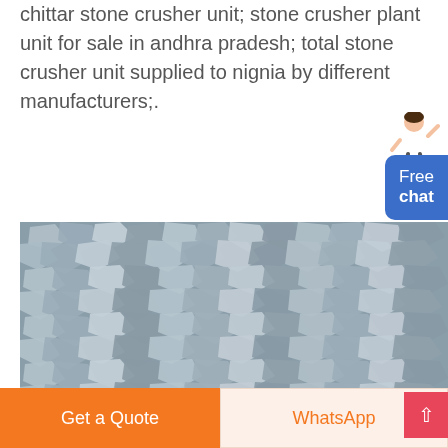chittar stone crusher unit; stone crusher plant unit for sale in andhra pradesh; total stone crusher unit supplied to nignia by different manufacturers;.
MORE
[Figure (photo): Close-up photo of crushed gray stone aggregate/gravel]
Get a Quote
WhatsApp